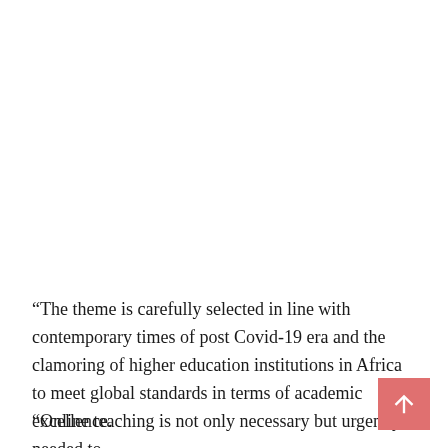“The theme is carefully selected in line with contemporary times of post Covid-19 era and the clamoring of higher education institutions in Africa to meet global standards in terms of academic excellence.
“Online teaching is not only necessary but urgently needed to